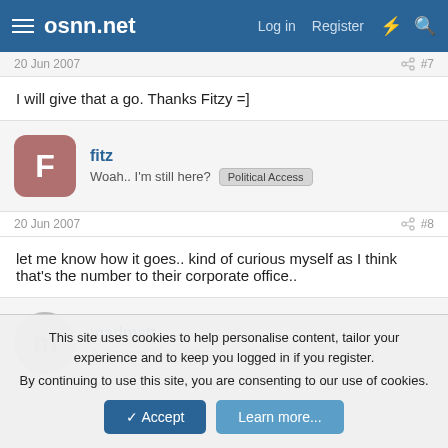osnn.net — Log in  Register
20 Jun 2007  #7
I will give that a go. Thanks Fitzy =]
fitz — Woah.. I'm still here? Political Access
20 Jun 2007  #8
let me know how it goes.. kind of curious myself as I think that's the number to their corporate office..
madmatt — Awesome is as awesome does. Political Access
This site uses cookies to help personalise content, tailor your experience and to keep you logged in if you register. By continuing to use this site, you are consenting to our use of cookies.